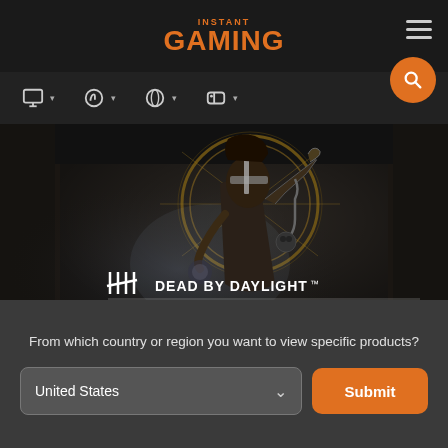INSTANT GAMING
[Figure (screenshot): Dead by Daylight - Demise of the Faithful game promotional banner showing a horror character holding a chain and skull against a dark dungeon background. Logo reads 'DEAD BY DAYLIGHT DEMISE OF THE FAITHFUL']
From which country or region you want to view specific products?
United States
Submit